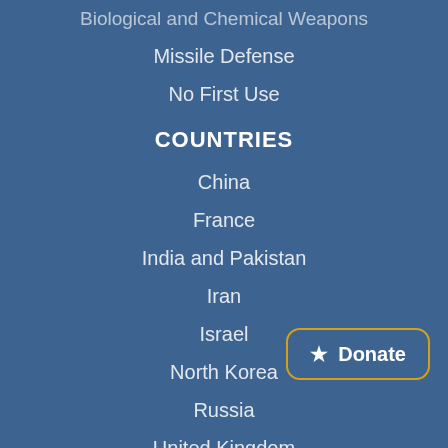Biological and Chemical Weapons
Missile Defense
No First Use
COUNTRIES
China
France
India and Pakistan
Iran
Israel
North Korea
Russia
United Kingdom
EXPLORE
Nukes of Hazard blog